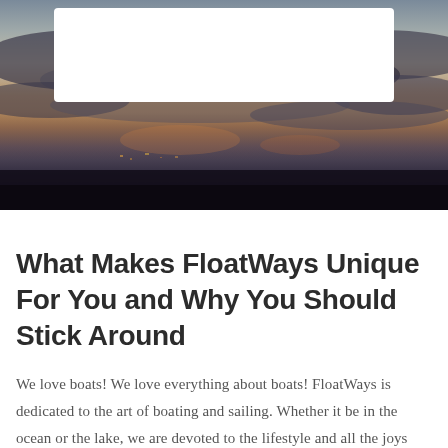[Figure (photo): Hero image of a dramatic cloudy sky at dusk or dawn with dark clouds and faint warm light on the horizon, with a white rounded rectangle overlay in the upper portion]
What Makes FloatWays Unique For You and Why You Should Stick Around
We love boats! We love everything about boats! FloatWays is dedicated to the art of boating and sailing. Whether it be in the ocean or the lake, we are devoted to the lifestyle and all the joys that come from being on the water. We are people who have practically been raised aboard boats. At the same time, FloatWays believes in being humble,